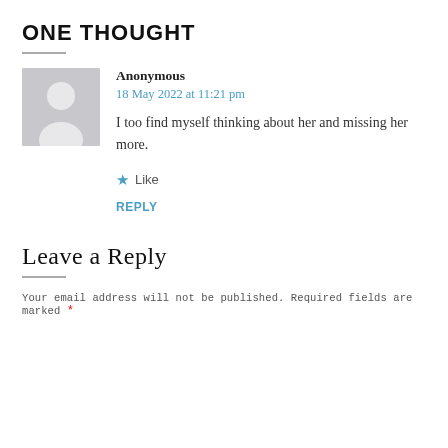ONE THOUGHT
Anonymous
18 May 2022 at 11:21 pm

I too find myself thinking about her and missing her more.
Like
REPLY
Leave a Reply
Your email address will not be published. Required fields are marked *